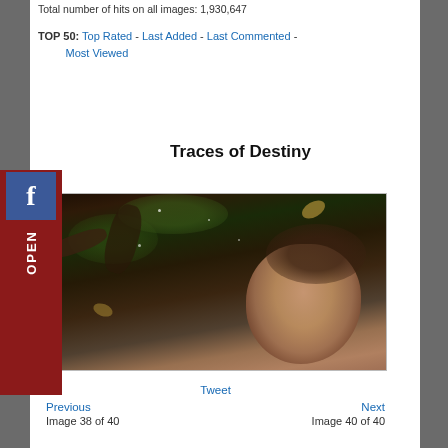Total number of hits on all images: 1,930,647
TOP 50: Top Rated - Last Added - Last Commented - Most Viewed
Traces of Destiny
[Figure (photo): A woman with dark hair lying among dark water, moss, and organic matter with snakes, viewed from above. Artistic fantasy photograph.]
Tweet
Previous
Next
Image 38 of 40
Image 40 of 40